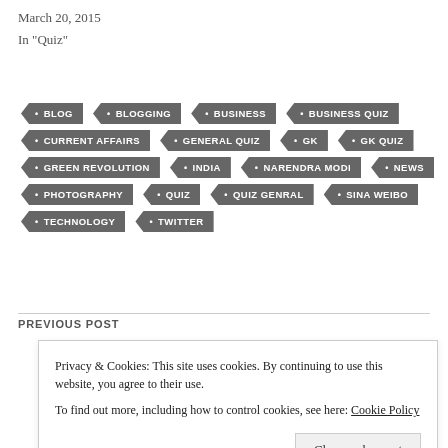March 20, 2015
In "Quiz"
BLOG
BLOGGING
BUSINESS
BUSINESS QUIZ
CURRENT AFFAIRS
GENERAL QUIZ
GK
GK QUIZ
GREEN REVOLUTION
INDIA
NARENDRA MODI
NEWS
PHOTOGRAPHY
QUIZ
QUIZ GENRAL
SINA WEIBO
TECHNOLOGY
TWITTER
PREVIOUS POST
Privacy & Cookies: This site uses cookies. By continuing to use this website, you agree to their use. To find out more, including how to control cookies, see here: Cookie Policy
Close and accept